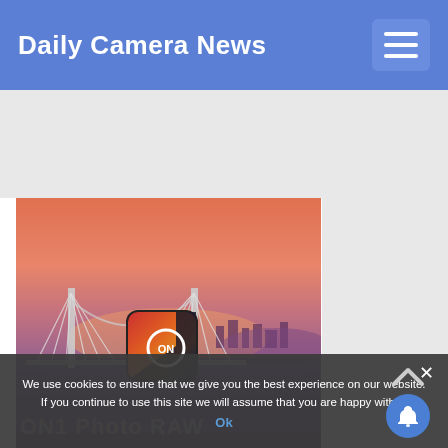Daily Camera News
[Figure (screenshot): Website screenshot of Daily Camera News with navigation header bar in blue, gray ad space area, and a main photo article image showing a suspension bridge at sunset with orange/pink sky, with ON1 Photo RAW app icon overlay and text]
We use cookies to ensure that we give you the best experience on our website. If you continue to use this site we will assume that you are happy with it.
Ok